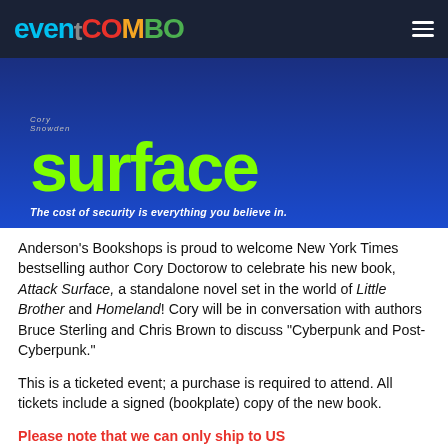eventcombo
[Figure (photo): Book cover for 'Attack Surface' by Cory Doctorow showing large green title text on blue background with tagline 'The cost of security is everything you believe in.']
Anderson's Bookshops is proud to welcome New York Times bestselling author Cory Doctorow to celebrate his new book, Attack Surface, a standalone novel set in the world of Little Brother and Homeland!  Cory will be in conversation with authors Bruce Sterling and Chris Brown to discuss "Cyberpunk and Post-Cyberpunk."
This is a ticketed event; a purchase is required to attend. All tickets include a signed (bookplate) copy of the new book.
Please note that we can only ship to US